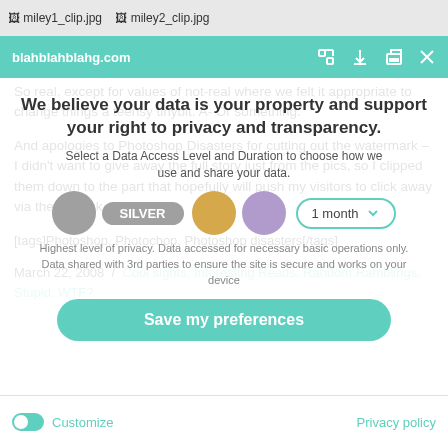[Figure (screenshot): Image filename thumbnails bar showing miley1_clip.jpg and miley2_clip.jpg]
[Figure (screenshot): Browser toolbar with URL blahblahblahg.com and icons for fullscreen, download, print, close on teal background]
So real, except for values of not-real where we felt it appropriate to change things a teensy tinybit. A- Or something.
[Figure (screenshot): GDPR/cookie consent overlay with title 'We believe your data is your property and support your right to privacy and transparency', data access level selector with Silver selected, 1 month duration dropdown, description text, and Save my preferences button]
And apologies to Photoshop Disasters for cutting out the watermark - I didn't want to give away the full story just from the pics, so I clipped them down to the part that hopefully will push my visitors to click away via the site link.
[tags]Photoshop, Photochop, Photoshop disasters[/tags]
March 22, 2008 / Cool sights, Interesting Reads, Random Ramblings, Stupid, WTF?
[Figure (screenshot): Bottom bar with toggle switch, Customize link, and Privacy policy link]